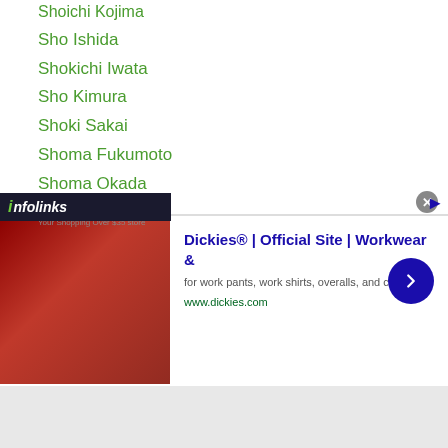Shoichi Kojima
Sho Ishida
Shokichi Iwata
Sho Kimura
Shoki Sakai
Shoma Fukumoto
Shoma Okada
Sho Nagata
Sho Nakazawa
Sho Omote
Shota Asami
Shota Fukumori
Shota Hayashi
Shota Kawaguchi
Shota Ogasawara
Shota Yamaguchi
Sho...kukawa
[Figure (screenshot): Infolinks advertisement bar overlay and Dickies workwear ad banner with close button]
Dickies® | Official Site | Workwear &
for work pants, work shirts, overalls, and coveralls.
www.dickies.com